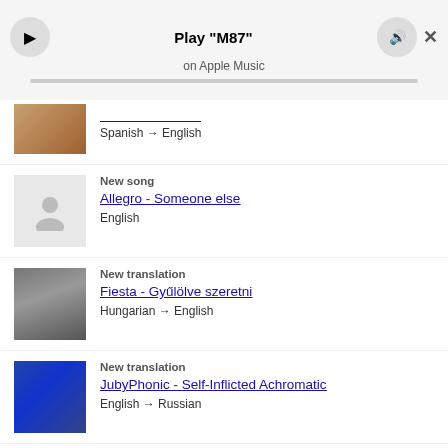[Figure (screenshot): Music player bar at top showing Play M87 on Apple Music with play button, speaker icon, close button, and progress bar]
Spanish → English (partial entry with thumbnail, link partially visible)
New song
Allegro - Someone else
English
New translation
Fiesta - Gyűlölve szeretni
Hungarian → English
New translation
JubyPhonic - Self-Inflicted Achromatic
English → Russian
New song
Beatfreakz - Somebody's watching me
English
New song
WONWOO - 무릎 (Knee)